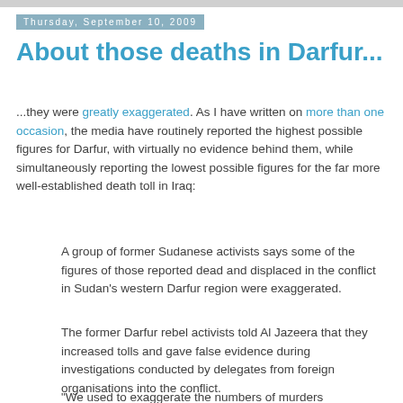Thursday, September 10, 2009
About those deaths in Darfur...
...they were greatly exaggerated. As I have written on more than one occasion, the media have routinely reported the highest possible figures for Darfur, with virtually no evidence behind them, while simultaneously reporting the lowest possible figures for the far more well-established death toll in Iraq:
A group of former Sudanese activists says some of the figures of those reported dead and displaced in the conflict in Sudan's western Darfur region were exaggerated.
The former Darfur rebel activists told Al Jazeera that they increased tolls and gave false evidence during investigations conducted by delegates from foreign organisations into the conflict.
"We used to exaggerate the numbers of murders